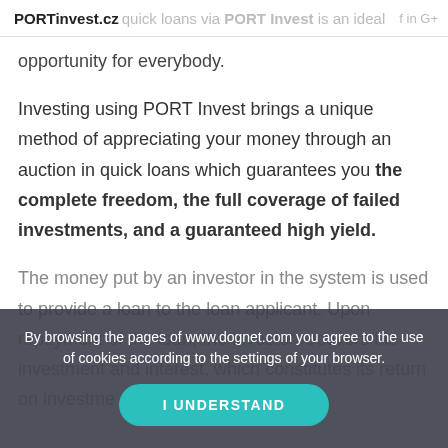PORTinvest.cz – quick loans via PORT Invest is an ideal opportunity for everybody.
Investment in quick loans via PORT Invest is an ideal opportunity for everybody.
Investing using PORT Invest brings a unique method of appreciating your money through an auction in quick loans which guarantees you the complete freedom, the full coverage of failed investments, and a guaranteed high yield.
The money put by an investor in the system is used to provide a loan to the loan applicant. Upon repayment of the loan, the investor recovers his investment and interest, which constitutes its return on investment.
By browsing the pages of www.dognet.com you agree to the use of cookies according to the settings of your browser.